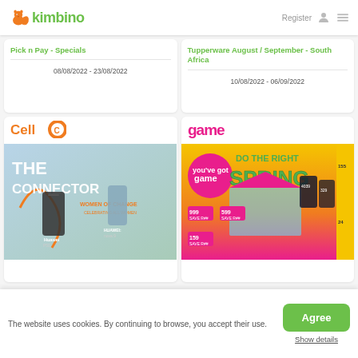kimbino — Register
Pick n Pay - Specials
08/08/2022 - 23/08/2022
Tupperware August / September - South Africa
10/08/2022 - 06/09/2022
[Figure (other): Cell C catalog cover: THE CONNECTOR, WOMEN OF CHANGE, featuring Huawei P50 and Huawei nova 9 phones]
[Figure (other): Game store catalog cover: DO THE RIGHT SPRING with product deals including prices 999, 599, 159, 4039, 329, 155, 24]
The website uses cookies. By continuing to browse, you accept their use.
Agree
Show details